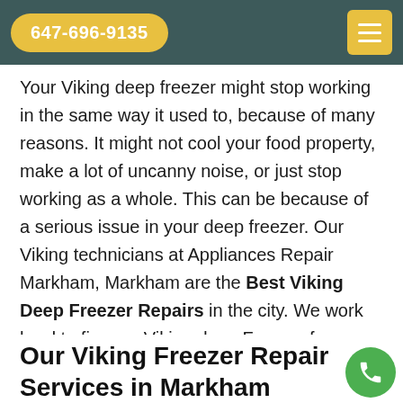647-696-9135
Your Viking deep freezer might stop working in the same way it used to, because of many reasons. It might not cool your food property, make a lot of uncanny noise, or just stop working as a whole. This can be because of a serious issue in your deep freezer. Our Viking technicians at Appliances Repair Markham, Markham are the Best Viking Deep Freezer Repairs in the city. We work hard to fix your Viking deep Freezer for you in no time, at an affordable rate, so you can return to your regular, comfortable routine in your space.
Our Viking Freezer Repair Services in Markham